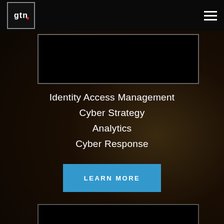[Figure (logo): GTN logo in white text inside a bordered box, top-left of dark header]
[Figure (other): Hamburger menu icon (three horizontal lines) in top-right of header]
[Figure (screenshot): Black video/image box with border, partially visible at top]
Identity Access Management
Cyber Strategy
Analytics
Cyber Response
LEARN MORE
[Figure (screenshot): Black video/image box with border, partially visible at bottom]